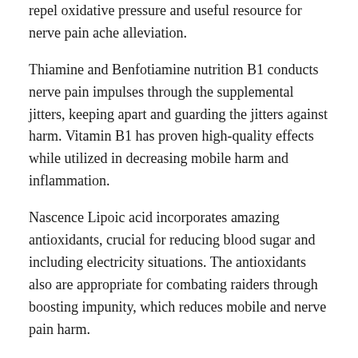repel oxidative pressure and useful resource for nerve pain ache alleviation.
Thiamine and Benfotiamine nutrition B1 conducts nerve pain impulses through the supplemental jitters, keeping apart and guarding the jitters against harm. Vitamin B1 has proven high-quality effects while utilized in decreasing mobile harm and inflammation.
Nascence Lipoic acid incorporates amazing antioxidants, crucial for reducing blood sugar and including electricity situations. The antioxidants also are appropriate for combating raiders through boosting impunity, which reduces mobile and nerve pain harm.
Corydalis is a natural factor recognized to deal with and palliate nerve pain ache.
California poppy is a herbal, nonaddicting factor that has